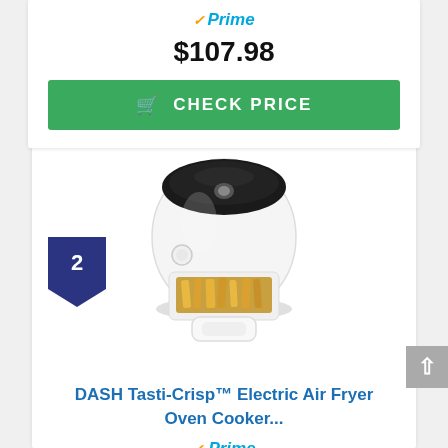[Figure (logo): Amazon Prime checkmark and 'Prime' logo in orange/blue]
$107.98
CHECK PRICE
2
[Figure (photo): White DASH Tasti-Crisp Electric Air Fryer Oven with open basket showing french fries]
DASH Tasti-Crisp™ Electric Air Fryer Oven Cooker...
[Figure (logo): Amazon Prime checkmark and 'Prime' logo in orange/blue]